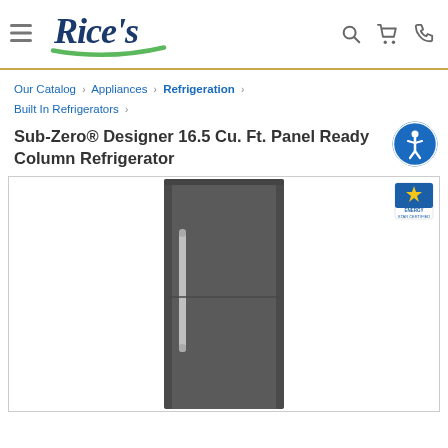Rice's appliance store website header with navigation
Our Catalog › Appliances › Refrigeration › Built In Refrigerators ›
Sub-Zero® Designer 16.5 Cu. Ft. Panel Ready Column Refrigerator
[Figure (photo): Sub-Zero panel ready column refrigerator shown in dark grey finish with stainless steel handle, front-facing view]